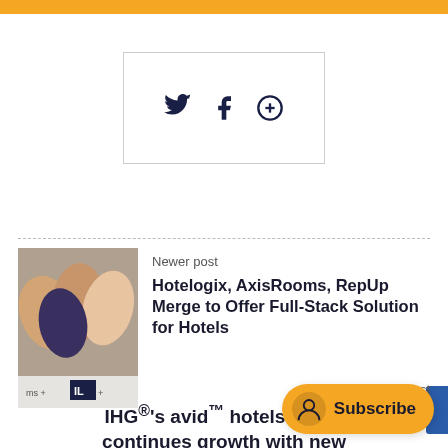[Figure (other): Social sharing icons row: Twitter bird, Facebook logo, Google+ logo inside a bordered box]
Newer post
[Figure (photo): Photo of people joining hands together, with Hotelogix logo visible at bottom]
Hotelogix, AxisRooms, RepUp Merge to Offer Full-Stack Solution for Hotels
Older post
IHG®'s avid™ hotels brand continues growth with new properties now open in US and
[Figure (other): Subscribe button pill with user icon]